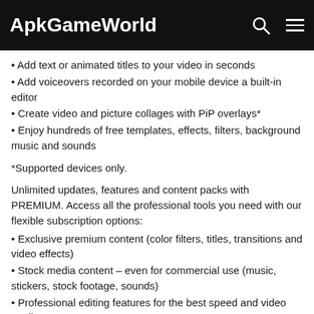ApkGameWorld
• Add text or animated titles to your video in seconds
• Add voiceovers recorded on your mobile device a built-in editor
• Create video and picture collages with PiP overlays*
• Enjoy hundreds of free templates, effects, filters, background music and sounds
*Supported devices only.
Unlimited updates, features and content packs with PREMIUM. Access all the professional tools you need with our flexible subscription options:
• Exclusive premium content (color filters, titles, transitions and video effects)
• Stock media content – even for commercial use (music, stickers, stock footage, sounds)
• Professional editing features for the best speed and video quality
• Ad-free and distraction free
• Enjoy unlimited access to our massive, royalty-free stock library powered by Shutterstock. Create captivating video projects with hundreds and thousands of professional stock video, photo and music.